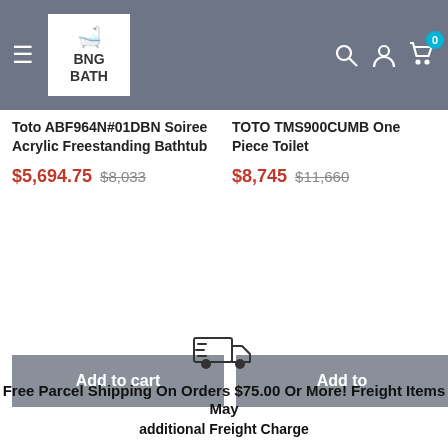BNG BATH
Toto ABF964N#01DBN Soiree Acrylic Freestanding Bathtub
$5,694.75  $8,033
TOTO TMS900CUMB One Piece Toilet
$8,745  $11,660
Add to cart
Add to
Free Parcel Shipping On Orders $75.00 Or More! Freight Items May
additional Freight Charge